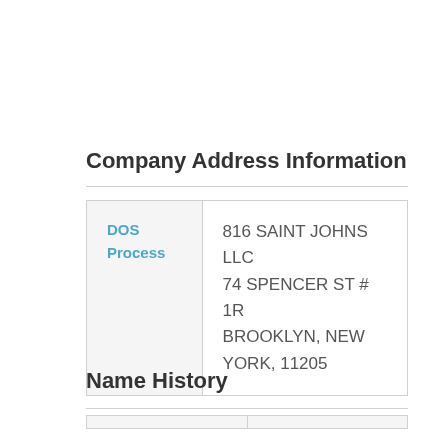Company Address Information
|  |  |
| --- | --- |
| DOS Process | 816 SAINT JOHNS LLC
74 SPENCER ST # 1R
BROOKLYN, NEW YORK, 11205 |
Name History